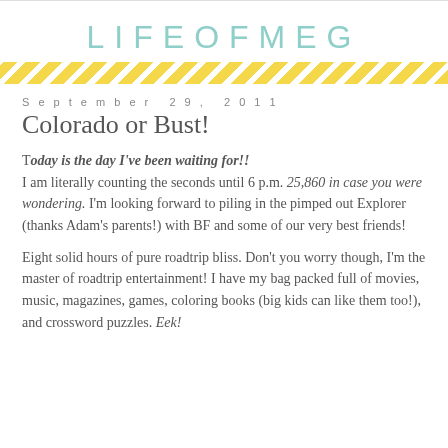LIFEOFMEG
September 29, 2011
Colorado or Bust!
Today is the day I've been waiting for!! I am literally counting the seconds until 6 p.m. 25,860 in case you were wondering. I'm looking forward to piling in the pimped out Explorer (thanks Adam's parents!) with BF and some of our very best friends!
Eight solid hours of pure roadtrip bliss. Don't you worry though, I'm the master of roadtrip entertainment! I have my bag packed full of movies, music, magazines, games, coloring books (big kids can like them too!), and crossword puzzles. Eek!